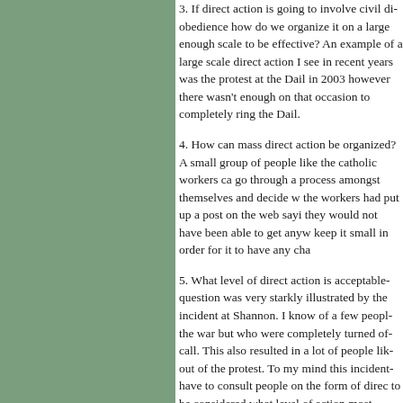3. If direct action is going to involve civil disobedience how do we organize it on a large enough scale to be effective? An example of a large scale direct action I seen in recent years was the protest at the Dail in 2003 however there wasn't enough on that occasion to completely ring the Dail.
4. How can mass direct action be organized? A small group of people like the catholic workers can go through a process amongst themselves and decide what to do, if the workers had put up a post on the web saying what they did they would not have been able to get anywhere, they have to keep it small in order for it to have any chance.
5. What level of direct action is acceptable? This question was very starkly illustrated by the Pitstop Ploughshares incident at Shannon. I know of a few people who were against the war but who were completely turned off by that particular call. This also resulted in a lot of people like myself pulling out of the protest. To my mind this incident shows that you have to consult people on the form of direct action and it has to be considered what level of action most people will support the cause. An example of successful direct action is tax resistance where people are prepared to empty their bank accounts. It is a but affective form of action it is also perfectly legal rather than getting people arrested and sent to jail.
6. The cost of court cases must be considered. A lot of people take direct action and they are arrested and put in a situation where they may have to pay crippling court cases and even their liberty. For example if the IAS win their case then we have to support all those who suffered as a result of